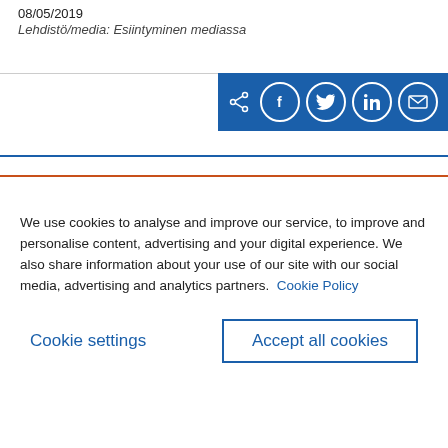08/05/2019
Lehdistö/media: Esiintyminen mediassa
[Figure (infographic): Social sharing bar with icons for share, Facebook, Twitter, LinkedIn, and email on a blue background]
We use cookies to analyse and improve our service, to improve and personalise content, advertising and your digital experience. We also share information about your use of our site with our social media, advertising and analytics partners.  Cookie Policy
Cookie settings
Accept all cookies